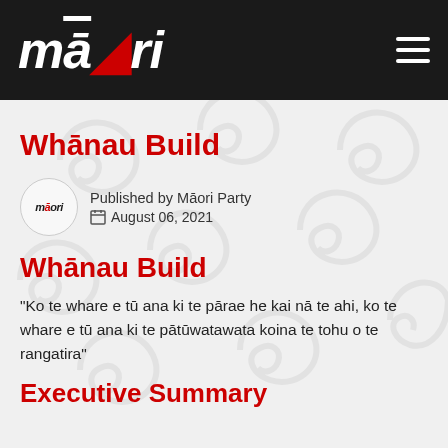māori
Whānau Build
Published by Māori Party
August 06, 2021
Whānau Build
“Ko te whare e tū ana ki te pārae he kai nā te ahi, ko te whare e tū ana ki te pātūwatawata koina te tohu o te rangatira”
Executive Summary